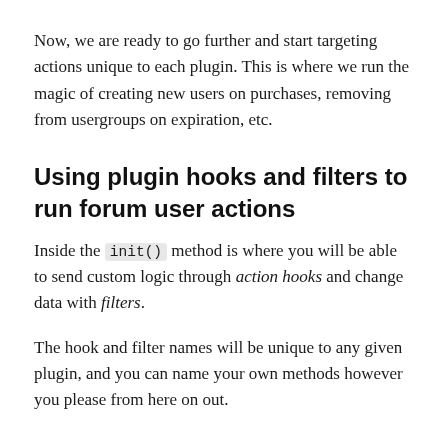Now, we are ready to go further and start targeting actions unique to each plugin. This is where we run the magic of creating new users on purchases, removing from usergroups on expiration, etc.
Using plugin hooks and filters to run forum user actions
Inside the init() method is where you will be able to send custom logic through action hooks and change data with filters.
The hook and filter names will be unique to any given plugin, and you can name your own methods however you please from here on out.